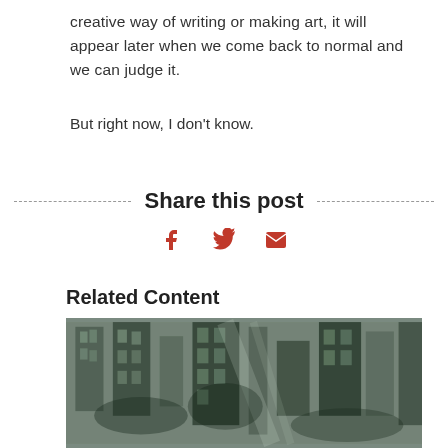creative way of writing or making art, it will appear later when we come back to normal and we can judge it.
But right now, I don’t know.
Share this post
[Figure (infographic): Social share icons: Facebook (f), Twitter (bird), Email (envelope) in red/dark red color]
Related Content
[Figure (photo): Black and white aerial photograph of a dense urban cityscape with tall buildings viewed from above]